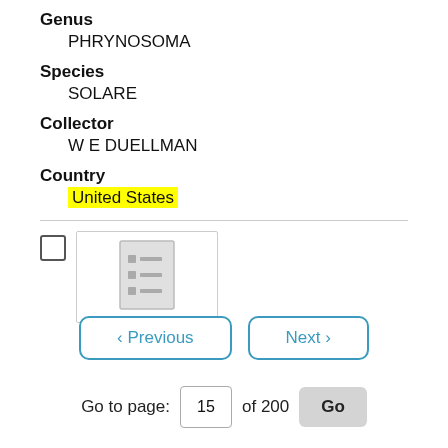Genus
PHRYNOSOMA
Species
SOLARE
Collector
W E DUELLMAN
Country
United States
[Figure (screenshot): Document thumbnail icon showing lines of text in a grey rectangle]
< Previous  Next >
Go to page: 15 of 200  Go